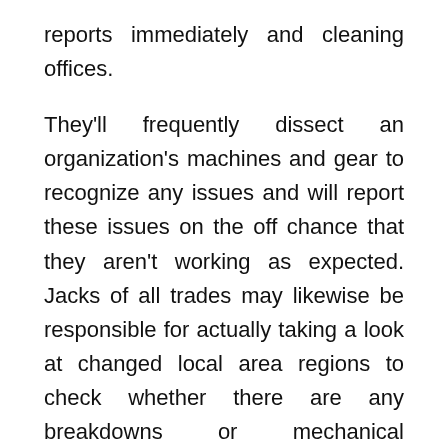reports immediately and cleaning offices.
They'll frequently dissect an organization's machines and gear to recognize any issues and will report these issues on the off chance that they aren't working as expected. Jacks of all trades may likewise be responsible for actually taking a look at changed local area regions to check whether there are any breakdowns or mechanical disappointments that they can fix.
Conclusion
Your home is one of your most important resources; for this reason you should stick with it enough. If you do not have the opportunity,